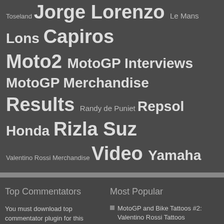Toseland Jorge Lorenzo Le Mans Lons Capiros Moto2 MotoGP Interviews MotoGP Merchandise Results Randy de Puniet Repsol Honda Rizla Suz Valentino Rossi Merchandise Video Yamaha
Top Commentators
You must download top commentator plugin for this section to work
Most Popular
MotoGP and Bike Tattoos #2: Valentino Rossi Tattoos
Valentino Rossi Ducati Photoshop Fun
MotoGP and Bike Tattoos #1: Ducati Tattoos
New Valentino Rossi Merchandise (20 Range)
Jorge Lorenzo's Indianapolis 'Captain America' Helmet - Photos
Buy Barry Sheene Championship Jack and T-Shirts
Buy Valentino Rossi Hats (Caps & Beanies) from the new VR46 range